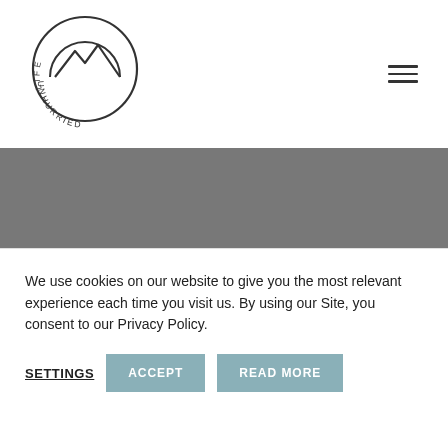[Figure (logo): Life Unhurried circular logo with mountain silhouette and text 'LIFE UNHURRIED' around the circle]
Letters from the road
No email overwhelm. Just carefully
We use cookies on our website to give you the most relevant experience each time you visit us. By using our Site, you consent to our Privacy Policy.
SETTINGS
ACCEPT
READ MORE